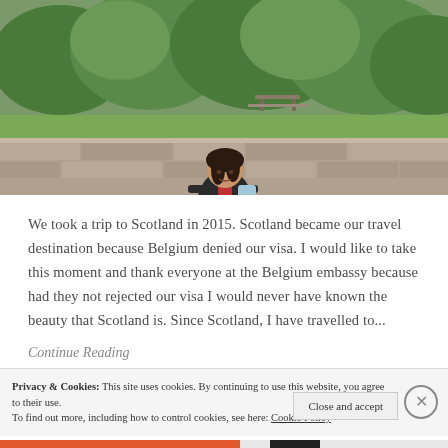[Figure (photo): A woman sitting on a stone wall outdoors in Scotland. She is wearing a black jacket, red top, blue jeans, and pink shoes, carrying a light blue bag. Green trees and grass visible in the background with a picnic table.]
We took a trip to Scotland in 2015. Scotland became our travel destination because Belgium denied our visa. I would like to take this moment and thank everyone at the Belgium embassy because had they not rejected our visa I would never have known the beauty that Scotland is. Since Scotland, I have travelled to...
Continue Reading
Privacy & Cookies: This site uses cookies. By continuing to use this website, you agree to their use.
To find out more, including how to control cookies, see here: Cookie Policy
Close and accept